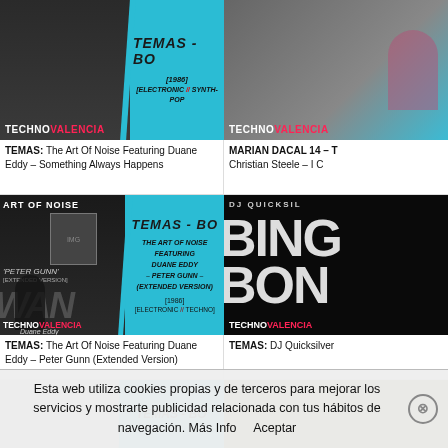[Figure (screenshot): Technovalencia website grid showing music thumbnails - top left: Art of Noise featuring Duane Eddy album art with blue panel showing [1986] [ELECTRONIC // SYNTH-POP]
[Figure (screenshot): Top right: Technovalencia logo with pink text, partial image visible]
TEMAS: The Art Of Noise Featuring Duane Eddy – Something Always Happens
MARIAN DACAL 14 – T Christian Steele – I C
[Figure (screenshot): Middle left: Art Of Noise Peter Gunn Extended Version album art with TECHNOVALENCIA logo, center blue panel with track info: THE ART OF NOISE FEATURING DUANE EDDY - PETER GUNN - (EXTENDED VERSION) [1986] [ELECTRONIC // TECHNO]]
[Figure (screenshot): Middle right: DJ Quicksilver BINGO BONGO album art with TECHNOVALENCIA logo, dark background]
TEMAS: The Art Of Noise Featuring Duane Eddy – Peter Gunn (Extended Version)
TEMAS: DJ Quicksilver
[Figure (screenshot): Bottom left: partial thumbnail with blue panel and TEMAS - B text]
[Figure (screenshot): Bottom right: partial olive/yellow thumbnail]
Esta web utiliza cookies propias y de terceros para mejorar los servicios y mostrarte publicidad relacionada con tus hábitos de navegación. Más Info    Aceptar